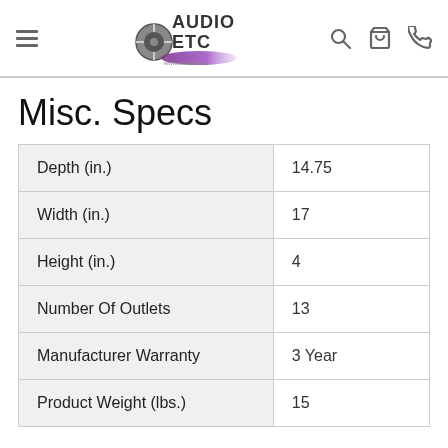Audio ETC logo with navigation icons (menu, search, cart, phone)
Misc. Specs
|  |  |
| --- | --- |
| Depth (in.) | 14.75 |
| Width (in.) | 17 |
| Height (in.) | 4 |
| Number Of Outlets | 13 |
| Manufacturer Warranty | 3 Year |
| Product Weight (lbs.) | 15 |